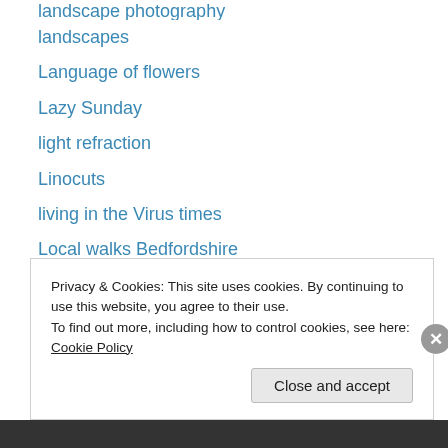landscape photography
landscapes
Language of flowers
Lazy Sunday
light refraction
Linocuts
living in the Virus times
Local walks Bedfordshire
London
Looking back at 2013
love
lovers
magic
magic tales
Privacy & Cookies: This site uses cookies. By continuing to use this website, you agree to their use.
To find out more, including how to control cookies, see here: Cookie Policy